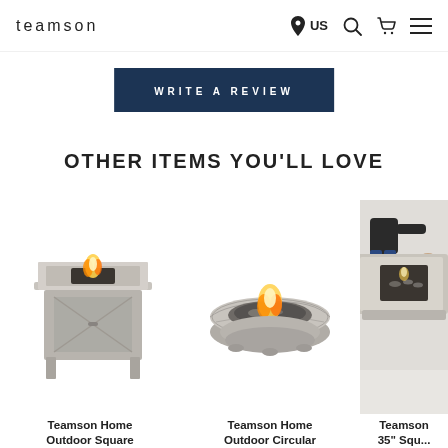teamson — US navigation header with search, cart, and menu icons
WRITE A REVIEW
OTHER ITEMS YOU'LL LOVE
[Figure (photo): Teamson Home Outdoor Square fire pit table with flame, square top and grey base]
Teamson Home Outdoor Square
[Figure (photo): Teamson Home Outdoor Circular stone-look fire pit with flame]
Teamson Home Outdoor Circular
[Figure (photo): Teamson 35" Square fire pit table partially visible, with person sitting nearby]
Teamson 35" Squ...